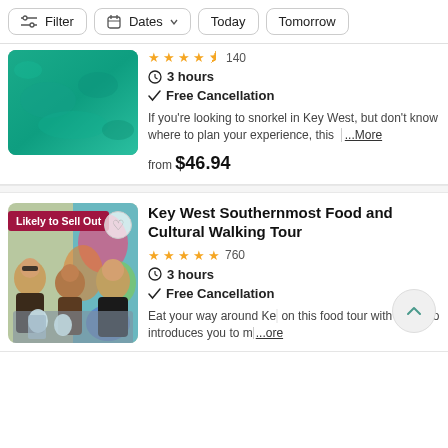Filter | Dates | Today | Tomorrow
[Figure (photo): Aerial view of clear teal-green ocean water with a snorkeling scene]
3 hours
Free Cancellation
If you're looking to snorkel in Key West, but don't know where to plan your experience, this | ...More
from $46.94
Key West Southernmost Food and Cultural Walking Tour
[Figure (photo): Group of women eating and drinking at an outdoor restaurant with colorful wall art in the background. Badge: Likely to Sell Out]
760
3 hours
Free Cancellation
Eat your way around Ke on this food tour with a g who introduces you to m ...ore